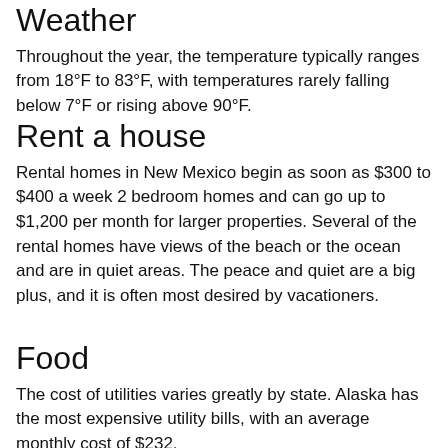Weather
Throughout the year, the temperature typically ranges from 18°F to 83°F, with temperatures rarely falling below 7°F or rising above 90°F.
Rent a house
Rental homes in New Mexico begin as soon as $300 to $400 a week 2 bedroom homes and can go up to $1,200 per month for larger properties. Several of the rental homes have views of the beach or the ocean and are in quiet areas. The peace and quiet are a big plus, and it is often most desired by vacationers.
Food
The cost of utilities varies greatly by state. Alaska has the most expensive utility bills, with an average monthly cost of $232.